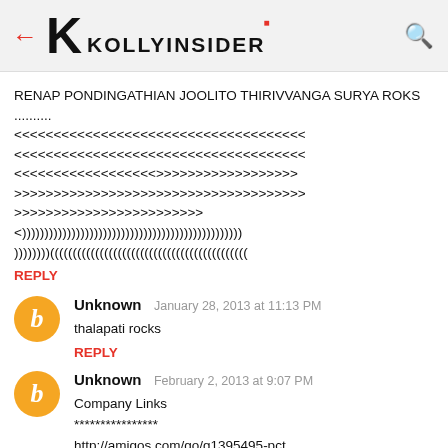KOLLYINSIDER
RENAP PONDINGATHIAN JOOLITO THIRIVVANGA SURYA ROKS ........... <<<<<<<<<<<<<<<<<<<<<<<<<<<<<<<<<<<< <<<<<<<<<<<<<<<<<<<<<<<<<<<<<<<<<<<< <<<<<<<<<<<<<<<>>>>>>>>>>>>>>>>>> >>>>>>>>>>>>>>>>>>>>>>>>>>>>>>>>>>> >>>>>>>>>>>>>>>>>>>>>> <)))))))))))))))))))))))))))))))))))))))))))) )))))))((((((((((((((((((((((((((((((((((((((((((
REPLY
Unknown  January 28, 2013 at 11:13 PM
thalapati rocks
REPLY
Unknown  February 2, 2013 at 9:07 PM
Company Links
****************
http://amigos.com/go/g1395495-pct
http://...